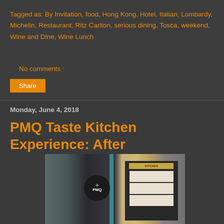Tagged as: By Invitation, food, Hong Kong, Hotel, Italian, Lombardy, Michelin, Restaurant, Ritz Carlton, serious dining, Tosca, weekend, Wine and Dine, Wine Lunch
No comments :
Share
Monday, June 4, 2018
PMQ Taste Kitchen Experience: After
[Figure (photo): Photo of PMQ Taste Kitchen showing the entrance with a teal door frame, a black circular PMQ sign on the left side, and a dark board with a wooden 'Kitchen' sign and papers/menus posted on the right side]